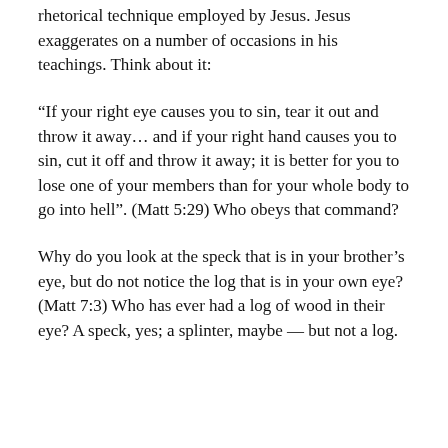rhetorical technique employed by Jesus. Jesus exaggerates on a number of occasions in his teachings. Think about it:
“If your right eye causes you to sin, tear it out and throw it away… and if your right hand causes you to sin, cut it off and throw it away; it is better for you to lose one of your members than for your whole body to go into hell”. (Matt 5:29) Who obeys that command?
Why do you look at the speck that is in your brother’s eye, but do not notice the log that is in your own eye? (Matt 7:3) Who has ever had a log of wood in their eye? A speck, yes; a splinter, maybe — but not a log.